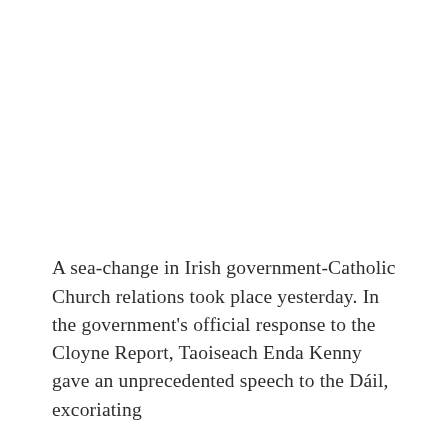A sea-change in Irish government-Catholic Church relations took place yesterday. In the government's official response to the Cloyne Report, Taoiseach Enda Kenny gave an unprecedented speech to the Dáil, excoriating